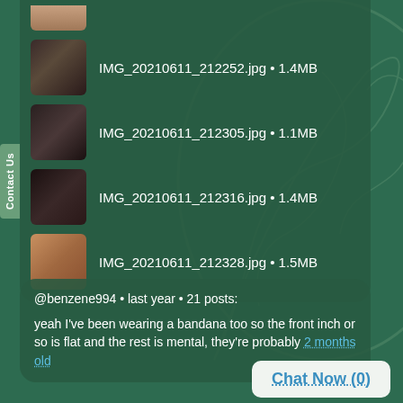[Figure (screenshot): File list showing image thumbnails with filenames and sizes: IMG_20210611_212252.jpg 1.4MB, IMG_20210611_212305.jpg 1.1MB, IMG_20210611_212316.jpg 1.4MB, IMG_20210611_212328.jpg 1.5MB]
@benzene994 • last year • 21 posts:
yeah I've been wearing a bandana too so the front inch or so is flat and the rest is mental, they're probably 2 months old
Chat Now (0)